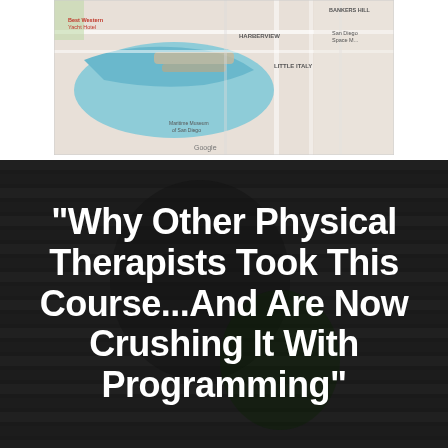[Figure (map): Google Maps screenshot showing waterfront area with harbor/bay in blue, street grid, labels including 'Best Western Yacht Hotel', 'HARBERVIEW', 'LITTLE ITALY', 'Maritime Museum of San Diego', 'BANKERS HILL', 'San Diego Space M...']
"Why Other Physical Therapists Took This Course...And Are Now Crushing It With Programming"